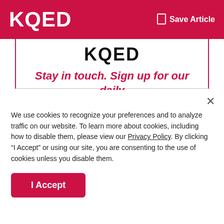KQED   Save Article
[Figure (logo): KQED logo text in black on white background inside modal]
Stay in touch. Sign up for our daily newsletter.
Email Address:
Sign Up
We use cookies to recognize your preferences and to analyze traffic on our website. To learn more about cookies, including how to disable them, please view our Privacy Policy. By clicking “I Accept” or using our site, you are consenting to the use of cookies unless you disable them.
I Accept